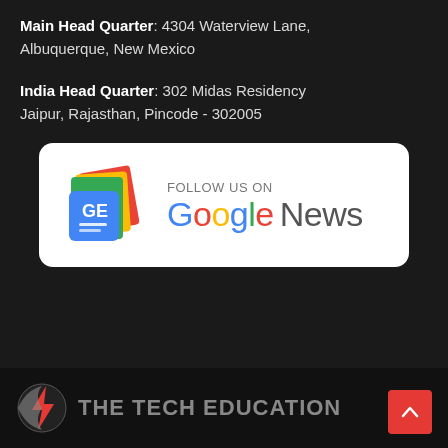Main Head Quarter: 4304 Waterview Lane, Albuquerque, New Mexico
India Head Quarter: 302 Midas Residency Jaipur, Rajasthan, Pincode - 302005
[Figure (logo): Follow us on Google News banner with Google News icon and colorful Google News text]
THE TECH EDUCATION